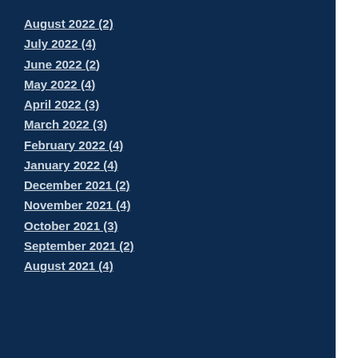August 2022 (2)
July 2022 (4)
June 2022 (2)
May 2022 (4)
April 2022 (3)
March 2022 (3)
February 2022 (4)
January 2022 (4)
December 2021 (2)
November 2021 (4)
October 2021 (3)
September 2021 (2)
August 2021 (4)